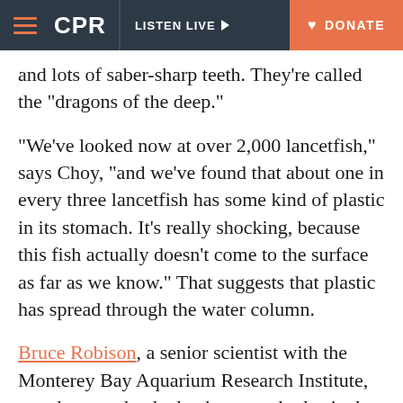CPR | LISTEN LIVE | DONATE
and lots of saber-sharp teeth. They're called the “dragons of the deep.”
“We’ve looked now at over 2,000 lancetfish,” says Choy, “and we’ve found that about one in every three lancetfish has some kind of plastic in its stomach. It’s really shocking, because this fish actually doesn’t come to the surface as far as we know.” That suggests that plastic has spread through the water column.
Bruce Robison, a senior scientist with the Monterey Bay Aquarium Research Institute, says he was shocked at how much plastic they found. “The fact that plastics are so pervasive, that they are so widespread, is a staggering discovery, and we’d be